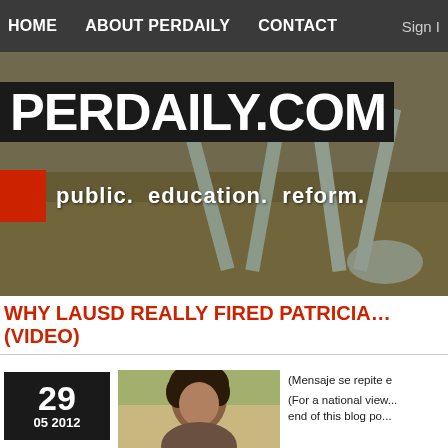HOME   ABOUT PERDAILY   CONTACT   Sign In
[Figure (photo): PERDAILY.COM website banner with tagline 'public. education. reform.' overlaid on a photo of playground equipment on sandy ground. Red square accent and dark background behind site title.]
WHY LAUSD REALLY FIRED PATRICIA... (VIDEO)
29
05 2012
[Figure (photo): Headshot photo of a woman with dark hair, outdoors with blurred background.]
(Mensaje se repite e...
(For a national view... end of this blog po...